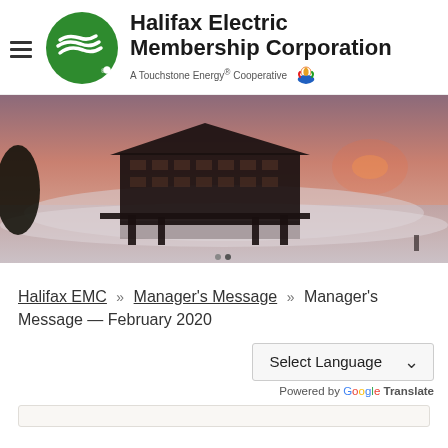[Figure (logo): Halifax Electric Membership Corporation logo with green circle containing white lightning bolt lines, company name in bold, and Touchstone Energy Cooperative tagline with logo]
[Figure (photo): Scenic sunset photo of a boat dock/covered pier silhouetted against a misty pink and purple sky over water]
Halifax EMC » Manager's Message » Manager's Message — February 2020
Select Language
Powered by Google Translate